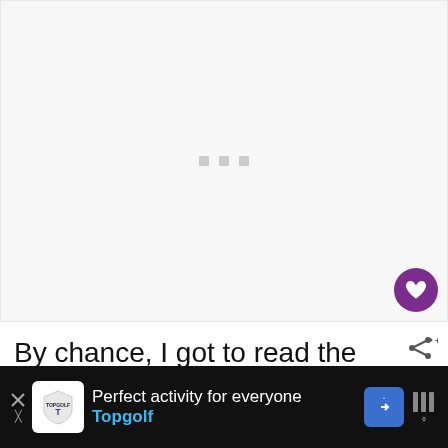[Figure (other): Loading placeholder with three gray squares in a light gray area — image loading indicator]
By chance, I got to read the adventure of several travel bloggers, like Tomislav P... [text continues below fold] ...aged to
[Figure (other): Topgolf advertisement banner at the bottom: 'Perfect activity for everyone — Topgolf' with logo, navigation icon, and weather icon on dark background]